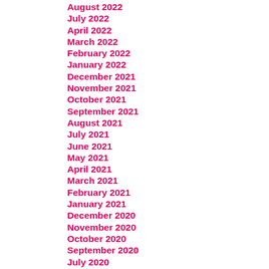August 2022
July 2022
April 2022
March 2022
February 2022
January 2022
December 2021
November 2021
October 2021
September 2021
August 2021
July 2021
June 2021
May 2021
April 2021
March 2021
February 2021
January 2021
December 2020
November 2020
October 2020
September 2020
July 2020
June 2020
May 2020
April 2020
March 2020
February 2020
January 2020